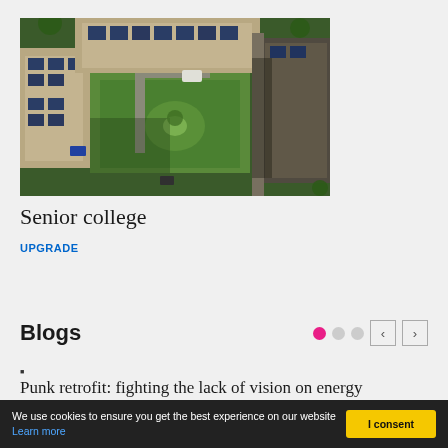[Figure (photo): Aerial drone photograph of a college building complex with solar panels on the rooftops, green lawn courtyard in the center, parking area, and surrounding trees.]
Senior college
UPGRADE
Blogs
Punk retrofit: fighting the lack of vision on energy
We use cookies to ensure you get the best experience on our website Learn more